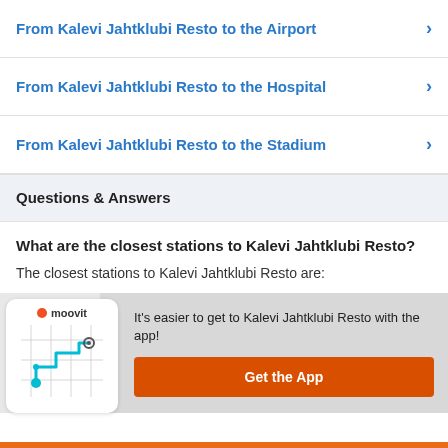From Kalevi Jahtklubi Resto to the Airport
From Kalevi Jahtklubi Resto to the Hospital
From Kalevi Jahtklubi Resto to the Stadium
Questions & Answers
What are the closest stations to Kalevi Jahtklubi Resto?
The closest stations to Kalevi Jahtklubi Resto are:
[Figure (screenshot): Moovit app promotion banner with phone mockup showing a route map. Text: It's easier to get to Kalevi Jahtklubi Resto with the app! Button: Get the App]